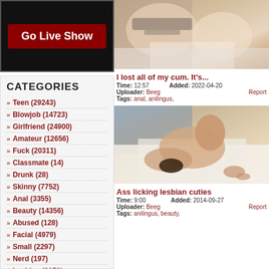[Figure (other): Go Live Show banner button on dark background]
CATEGORIES
Teen (29243)
Blowjob (14723)
Girlfriend (24900)
Amateur (12656)
Fuck (20311)
Classmate (14)
Drunk (28)
Skinny (7752)
Anal (3355)
Beauty (14356)
Abused (128)
Facial (4979)
Small (2297)
Nerd (197)
Lesbian (2170)
[Figure (photo): Video thumbnail for first video]
I lost all of my cum. It's...
Time: 12:57   Added: 2022-04-20
Uploader: Beeg   Report
Tags: anal, anilingus,
[Figure (photo): Video thumbnail for second video]
Ass licking lesbian cuties
Time: 9:00   Added: 2014-09-27
Uploader: Beeg   Report
Tags: anilingus, beauty,